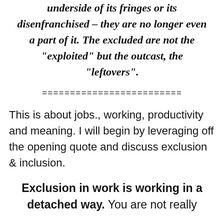underside of its fringes or its disenfranchised – they are no longer even a part of it. The excluded are not the "exploited" but the outcast, the "leftovers".
=========================
This is about jobs., working, productivity and meaning. I will begin by leveraging off the opening quote and discuss exclusion & inclusion.
Exclusion in work is working in a detached way. You are not really